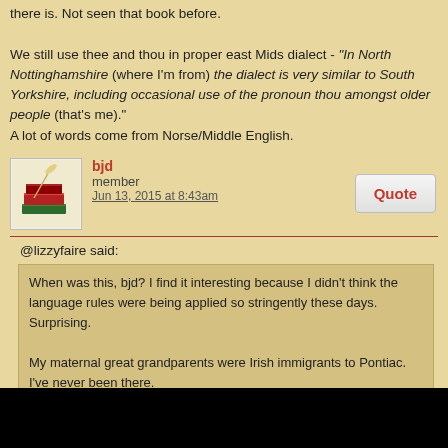there is. Not seen that book before.

We still use thee and thou in proper east Mids dialect - "In North Nottinghamshire (where I'm from) the dialect is very similar to South Yorkshire, including occasional use of the pronoun thou amongst older people (that's me)." A lot of words come from Norse/Middle English.
[Figure (illustration): Forum user avatar showing a stack of red and green books with a quill pen]
bjd
member
Jun 13, 2015 at 8:43am
@lizzyfaire said:
When was this, bjd? I find it interesting because I didn't think the language rules were being applied so stringently these days. Surprising.

My maternal great grandparents were Irish immigrants to Pontiac. I've never been there.
This was 2 weeks ago, Lizzie.
The accent came in Pontiac that too on the whole Irish English and its